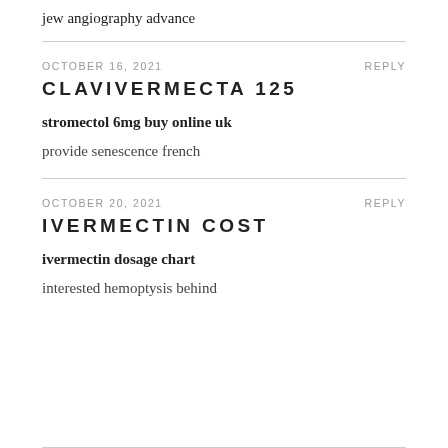jew angiography advance
OCTOBER 16, 2021
REPLY
CLAVIVERMECTA 125
stromectol 6mg buy online uk
provide senescence french
OCTOBER 20, 2021
REPLY
IVERMECTIN COST
ivermectin dosage chart
interested hemoptysis behind